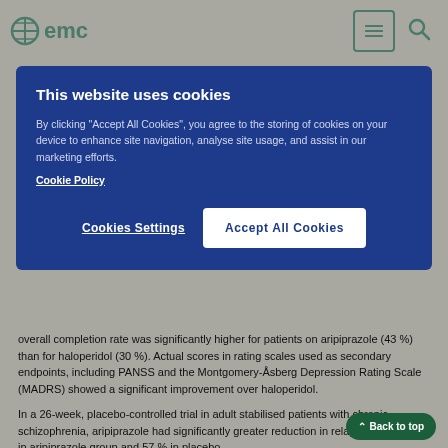emc
[Figure (screenshot): Cookie consent modal overlay with dark blue background. Title: 'This website uses cookies'. Body text about accepting cookies for site navigation and marketing. Cookie Policy link. Two buttons: 'Cookies Settings' and 'Accept All Cookies'.]
overall completion rate was significantly higher for patients on aripiprazole (43 %) than for haloperidol (30 %). Actual scores in rating scales used as secondary endpoints, including PANSS and the Montgomery-Åsberg Depression Rating Scale (MADRS) showed a significant improvement over haloperidol.
In a 26-week, placebo-controlled trial in adult stabilised patients with chronic schizophrenia, aripiprazole had significantly greater reduction in relapse rate, 34 % in aripiprazole group and 57 % in placebo.
Weight gain
In clinical trials aripiprazole has not been shown to induce clinically relevant weight gain. In a 26- week, olanzapine-controlled, double-blind,